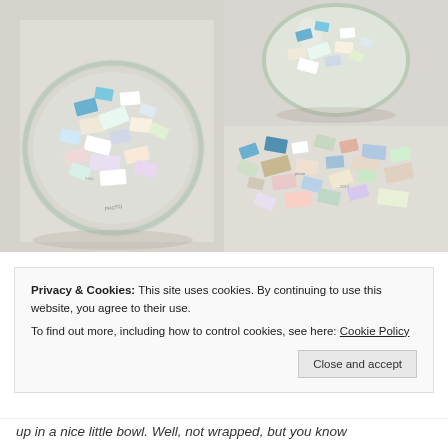[Figure (photo): Three photos of a glass bowl/fishbowl filled with torn and shredded paper scraps and photo pieces. Left: large bowl viewed from above, filled with colorful shredded paper and photo fragments. Top right: round glass bowl with paper scraps inside, side view. Bottom right: scattered torn paper and photo pieces spread on a surface.]
Privacy & Cookies: This site uses cookies. By continuing to use this website, you agree to their use.
To find out more, including how to control cookies, see here: Cookie Policy
Close and accept
up in a nice little bowl.  Well, not wrapped, but you know